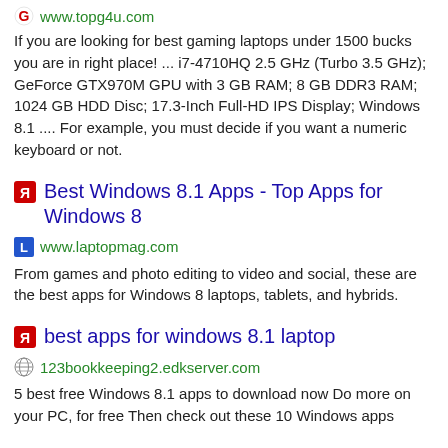www.topg4u.com
If you are looking for best gaming laptops under 1500 bucks you are in right place! ... i7-4710HQ 2.5 GHz (Turbo 3.5 GHz); GeForce GTX970M GPU with 3 GB RAM; 8 GB DDR3 RAM; 1024 GB HDD Disc; 17.3-Inch Full-HD IPS Display; Windows 8.1 .... For example, you must decide if you want a numeric keyboard or not.
Best Windows 8.1 Apps - Top Apps for Windows 8
www.laptopmag.com
From games and photo editing to video and social, these are the best apps for Windows 8 laptops, tablets, and hybrids.
best apps for windows 8.1 laptop
123bookkeeping2.edkserver.com
5 best free Windows 8.1 apps to download now Do more on your PC, for free Then check out these 10 Windows apps